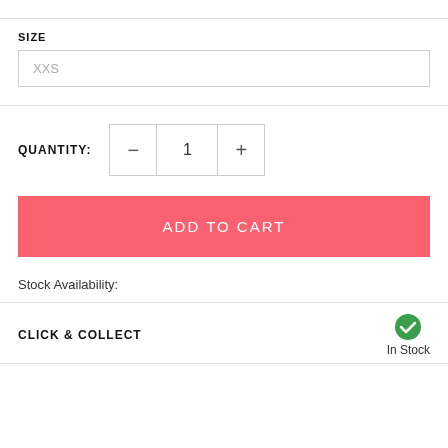SIZE
XXS
QUANTITY: 1
ADD TO CART
Stock Availability:
CLICK & COLLECT
In Stock